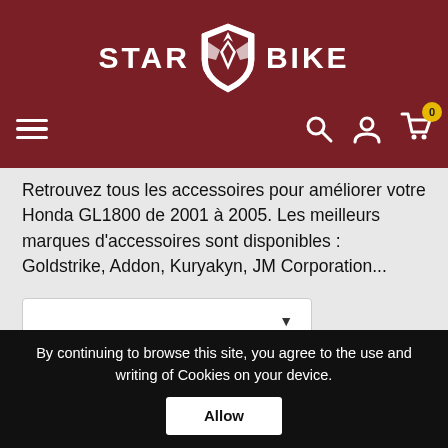[Figure (logo): Star Bike logo with shield emblem in white on dark red background, with navigation icons (hamburger menu, search, user, cart with 0 badge)]
Retrouvez tous les accessoires pour améliorer votre Honda GL1800 de 2001 à 2005. Les meilleurs marques d'accessoires sont disponibles : Goldstrike, Addon, Kuryakyn, JM Corporation...
Showing 1-25 of 146 item(s)
By continuing to browse this site, you agree to the use and writing of Cookies on your device.